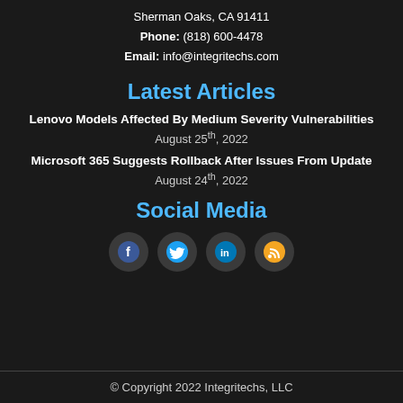Sherman Oaks, CA 91411
Phone: (818) 600-4478
Email: info@integritechs.com
Latest Articles
Lenovo Models Affected By Medium Severity Vulnerabilities
August 25th, 2022
Microsoft 365 Suggests Rollback After Issues From Update
August 24th, 2022
Social Media
[Figure (illustration): Four social media icons: Facebook, Twitter, LinkedIn, RSS feed]
© Copyright 2022 Integritechs, LLC